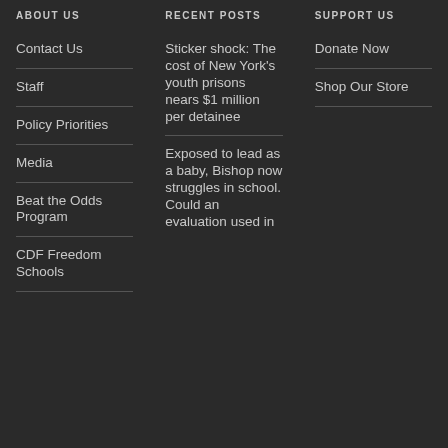ABOUT US
RECENT POSTS
SUPPORT US
Contact Us
Staff
Policy Priorities
Media
Beat the Odds Program
CDF Freedom Schools
Sticker shock: The cost of New York's youth prisons nears $1 million per detainee
Exposed to lead as a baby, Bishop now struggles in school. Could an evaluation used in
Donate Now
Shop Our Store